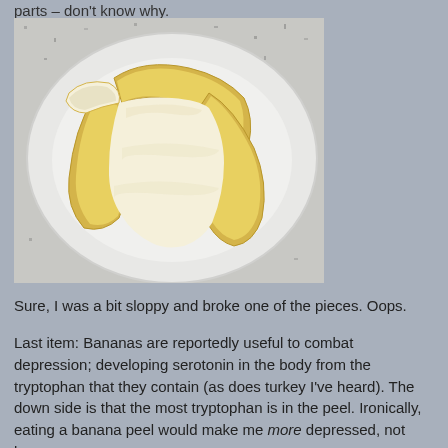parts – don't know why.
[Figure (photo): A peeled banana with its peel spread open on a white plate, sitting on a granite countertop.]
Sure, I was a bit sloppy and broke one of the pieces. Oops.
Last item: Bananas are reportedly useful to combat depression; developing serotonin in the body from the tryptophan that they contain (as does turkey I've heard). The down side is that the most tryptophan is in the peel. Ironically, eating a banana peel would make me more depressed, not less.